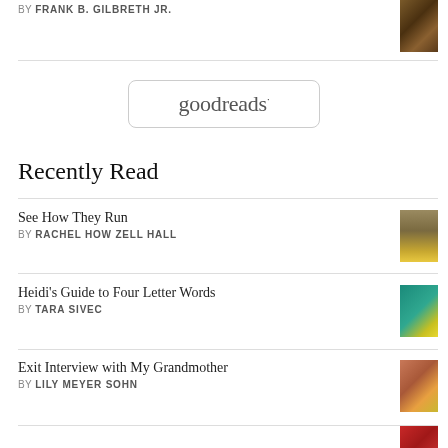BY FRANK B. GILBRETH JR.
[Figure (illustration): Book cover thumbnail at top right]
[Figure (logo): Goodreads logo in rounded rectangle border]
Recently Read
See How They Run
BY RACHEL HOW ZELL HALL
[Figure (illustration): Book cover for See How They Run]
Heidi's Guide to Four Letter Words
BY TARA SIVEC
[Figure (illustration): Book cover for Heidi's Guide to Four Letter Words]
Exit Interview with My Grandmother
BY LILY MEYER SOHN
[Figure (illustration): Book cover for Exit Interview with My Grandmother]